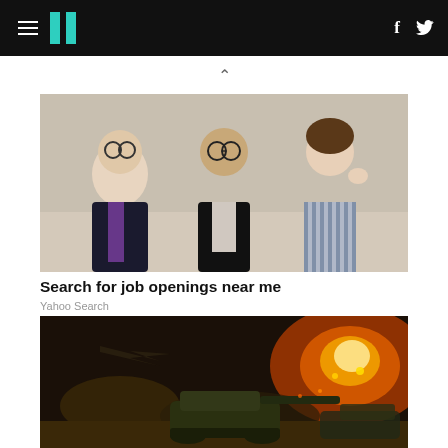HuffPost navigation bar with hamburger menu, logo, Facebook and Twitter icons
[Figure (photo): Three people seated at a table as if in a job interview panel — man in suit with purple tie on left, woman in dark blazer in center, woman in striped shirt on right]
Search for job openings near me
Yahoo Search
[Figure (photo): Military battle scene with tanks and aircraft, explosions and fire in background]